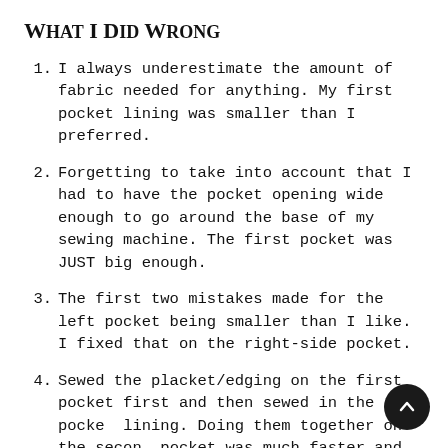What I Did Wrong
I always underestimate the amount of fabric needed for anything. My first pocket lining was smaller than I preferred.
Forgetting to take into account that I had to have the pocket opening wide enough to go around the base of my sewing machine. The first pocket was JUST big enough.
The first two mistakes made for the left pocket being smaller than I like. I fixed that on the right-side pocket.
Sewed the placket/edging on the first pocket first and then sewed in the pocket lining. Doing them together on the second pocket was much faster and easier.